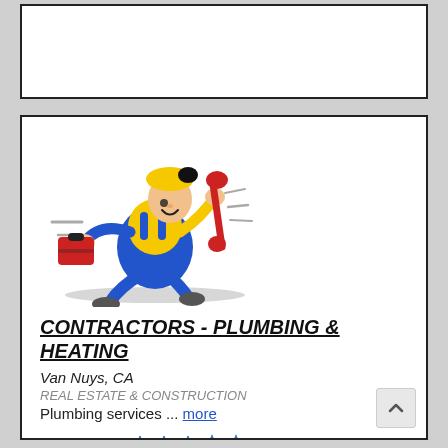[Figure (illustration): Cartoon plumber character running while holding a toolbox and a wrench, wearing blue overalls and a yellow shirt with a yellow hard hat.]
CONTRACTORS - PLUMBING & HEATING
Van Nuys, CA
REAL ESTATE & CONSTRUCTION
Plumbing services ... more
Rating: 3.0 ★★★☆☆ (2 Ratings)
Member Since: 30-Dec-1991
Sales: 67